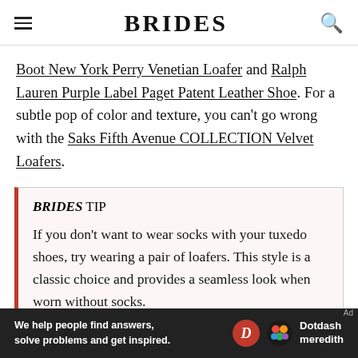BRIDES
Boot New York Perry Venetian Loafer and Ralph Lauren Purple Label Paget Patent Leather Shoe. For a subtle pop of color and texture, you can't go wrong with the Saks Fifth Avenue COLLECTION Velvet Loafers.
BRIDES TIP
If you don't want to wear socks with your tuxedo shoes, try wearing a pair of loafers. This style is a classic choice and provides a seamless look when worn without socks.
[Figure (other): Dotdash Meredith advertisement banner: 'We help people find answers, solve problems and get inspired.']